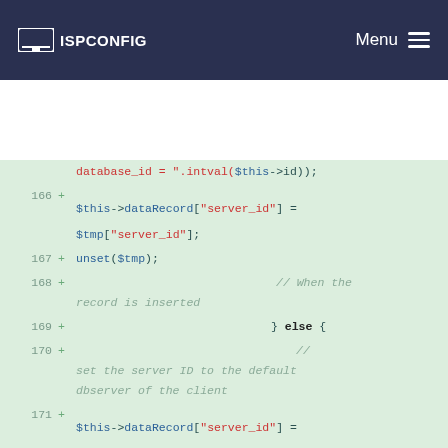ISPConfig | Menu
[Figure (screenshot): Code diff view showing PHP code lines 166-174 with line numbers, plus signs indicating additions, and syntax-highlighted PHP code on a green-tinted background]
database_id = ".intval($this->id));
166 + $this->dataRecord["server_id"] = $tmp["server_id"];
167 + unset($tmp);
168 + // When the record is inserted
169 + } else {
170 + // set the server ID to the default dbserver of the client
171 + $this->dataRecord["server_id"] = $client["default_dbserver"];
172 +
173 +
174 + // Check if the user may add another database